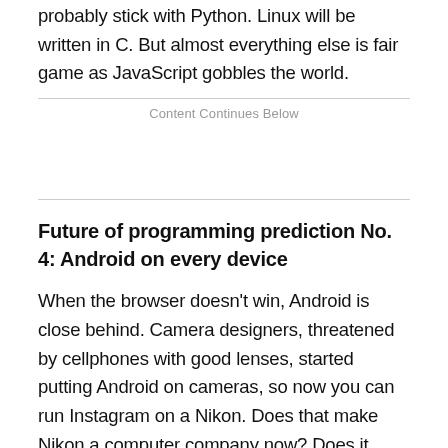probably stick with Python. Linux will be written in C. But almost everything else is fair game as JavaScript gobbles the world.
Content Continues Below
Future of programming prediction No. 4: Android on every device
When the browser doesn't win, Android is close behind. Camera designers, threatened by cellphones with good lenses, started putting Android on cameras, so now you can run Instagram on a Nikon. Does that make Nikon a computer company now? Does it even matter?